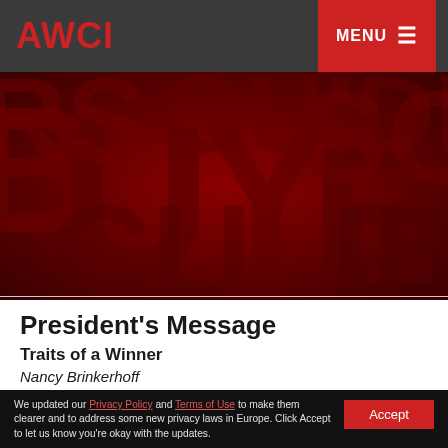AWCI | MENU
[Figure (illustration): Dark red decorative banner image with overlapping large typography/letters in a dark crimson color scheme, forming an abstract background pattern.]
President's Message
Traits of a Winner
Nancy Brinkerhoff
Read More →
We updated our Privacy Policy and Terms of Use to make them clearer and to address some new privacy laws in Europe. Click Accept to let us know you're okay with the updates.